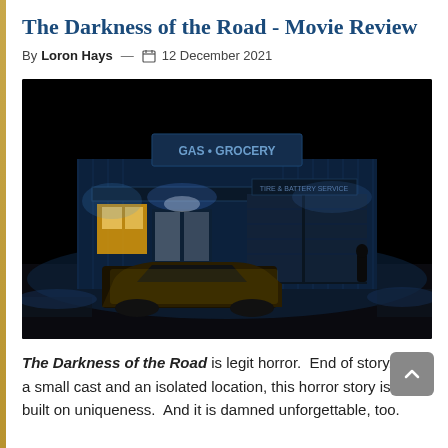The Darkness of the Road - Movie Review
By Loron Hays — 📅 12 December 2021
[Figure (photo): Night scene of an isolated gas station/store lit in blue light, with a yellow car parked in front and a lone figure standing near the entrance. The building has illuminated signs and the surrounding area is very dark.]
The Darkness of the Road is legit horror.  End of story.  With a small cast and an isolated location, this horror story is one built on uniqueness.  And it is damned unforgettable, too.